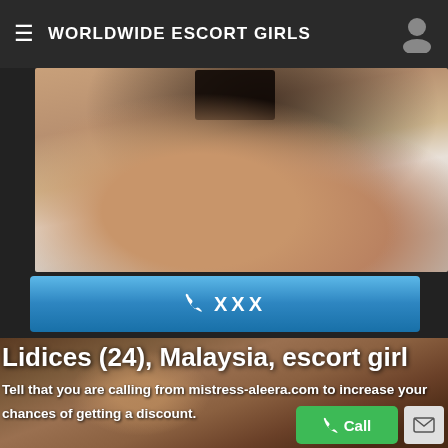WORLDWIDE ESCORT GIRLS
[Figure (photo): Photo of a woman in black lingerie lying on white bed sheets]
✆ XXX
[Figure (photo): Photo of a woman's legs against dark background with text overlay]
Lidices (24), Malaysia, escort girl
Tell that you are calling from mistress-aleera.com to increase your chances of getting a discount.